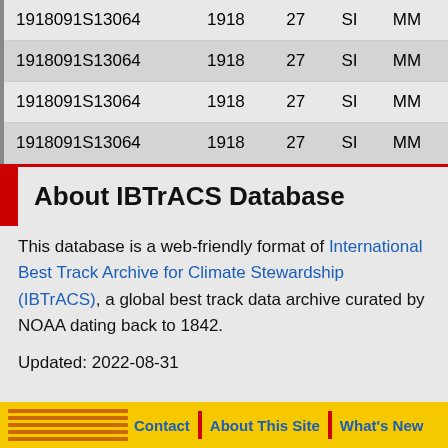| ID | Year | Day | Basin | Source |
| --- | --- | --- | --- | --- |
| 1918091S13064 | 1918 | 27 | SI | MM |
| 1918091S13064 | 1918 | 27 | SI | MM |
| 1918091S13064 | 1918 | 27 | SI | MM |
| 1918091S13064 | 1918 | 27 | SI | MM |
About IBTrACS Database
This database is a web-friendly format of International Best Track Archive for Climate Stewardship (IBTrACS), a global best track data archive curated by NOAA dating back to 1842.
Updated: 2022-08-31
Contact | About This Site | What's New